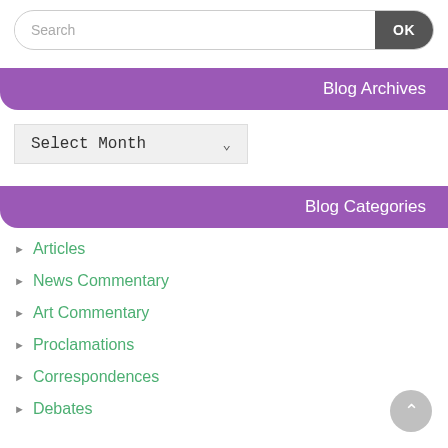Search / OK (search bar)
Blog Archives
Select Month (dropdown)
Blog Categories
Articles
News Commentary
Art Commentary
Proclamations
Correspondences
Debates